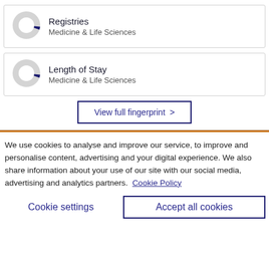[Figure (donut-chart): Small donut chart icon for Registries, mostly gray with small dark blue filled segment]
Registries
Medicine & Life Sciences
[Figure (donut-chart): Small donut chart icon for Length of Stay, mostly gray with small dark blue filled segment]
Length of Stay
Medicine & Life Sciences
View full fingerprint >
We use cookies to analyse and improve our service, to improve and personalise content, advertising and your digital experience. We also share information about your use of our site with our social media, advertising and analytics partners.  Cookie Policy
Cookie settings
Accept all cookies